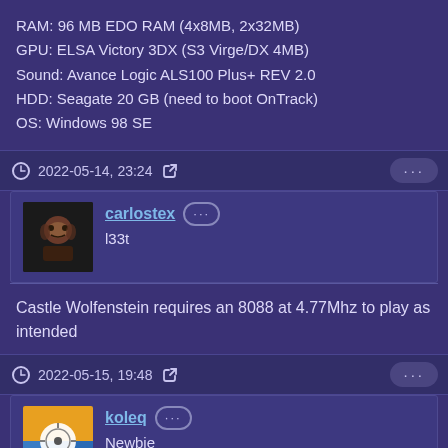RAM: 96 MB EDO RAM (4x8MB, 2x32MB)
GPU: ELSA Victory 3DX (S3 Virge/DX 4MB)
Sound: Avance Logic ALS100 Plus+ REV 2.0
HDD: Seagate 20 GB (need to boot OnTrack)
OS: Windows 98 SE
2022-05-14, 23:24
carlostex
l33t
Castle Wolfenstein requires an 8088 at 4.77Mhz to play as intended
2022-05-15, 19:48
koleq
Newbie